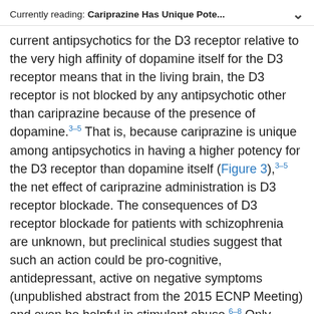Currently reading: Cariprazine Has Unique Pote...
current antipsychotics for the D3 receptor relative to the very high affinity of dopamine itself for the D3 receptor means that in the living brain, the D3 receptor is not blocked by any antipsychotic other than cariprazine because of the presence of dopamine.3–5 That is, because cariprazine is unique among antipsychotics in having a higher potency for the D3 receptor than dopamine itself (Figure 3),3–5 the net effect of cariprazine administration is D3 receptor blockade. The consequences of D3 receptor blockade for patients with schizophrenia are unknown, but preclinical studies suggest that such an action could be pro-cognitive, antidepressant, active on negative symptoms (unpublished abstract from the 2015 ECNP Meeting) and even be helpful in stimulant abuse.6–8 Only further experience with cariprazine in practice will answer the question of what are the clinical correlates